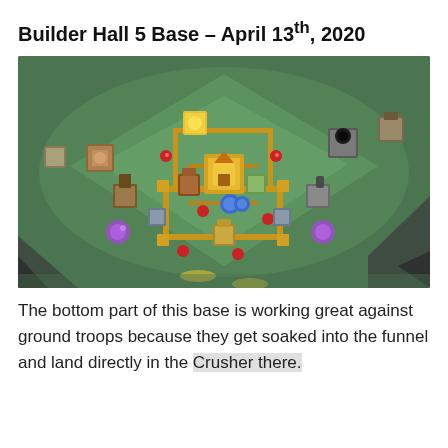Builder Hall 5 Base – April 13th, 2020
[Figure (screenshot): Clash of Clans Builder Hall 5 base layout screenshot showing an isometric view of a diamond-shaped base with various buildings, walls, and defenses arranged on a green grassy terrain with rocky edges.]
The bottom part of this base is working great against ground troops because they get soaked into the funnel and land directly in the Crusher there.